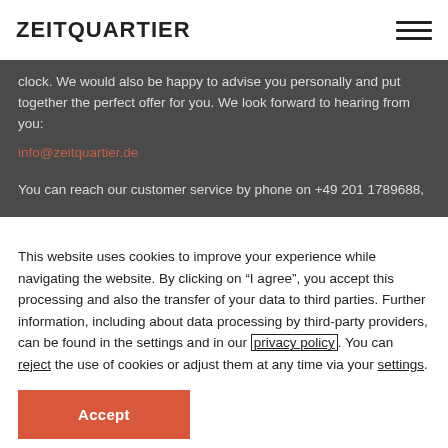ZEITQUARTIER
clock. We would also be happy to advise you personally and put together the perfect offer for you. We look forward to hearing from you:
info@zeitquartier.de
You can reach our customer service by phone on +49 201 1789688,
This website uses cookies to improve your experience while navigating the website. By clicking on “I agree”, you accept this processing and also the transfer of your data to third parties. Further information, including about data processing by third-party providers, can be found in the settings and in our privacy policy. You can reject the use of cookies or adjust them at any time via your settings.
Accept